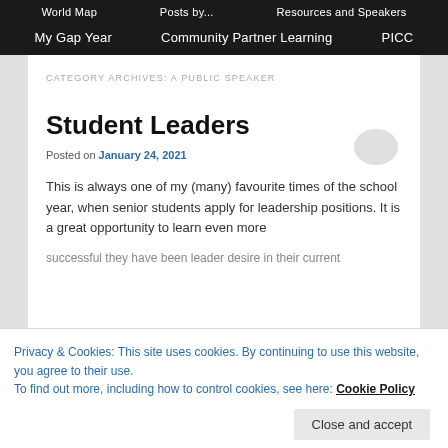World Map   Posts by...   Resources and Speakers
My Gap Year   Community Partner Learning   PICC
CATEGORY ARCHIVES: A PUBLIC SPEAKER
Student Leaders
Posted on January 24, 2021
This is always one of my (many) favourite times of the school year, when senior students apply for leadership positions.  It is a great opportunity to learn even more
Privacy & Cookies: This site uses cookies. By continuing to use this website, you agree to their use.
To find out more, including how to control cookies, see here: Cookie Policy
successful they have been leader desire in their current